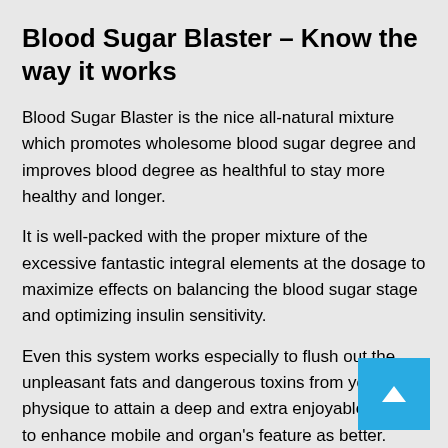Blood Sugar Blaster – Know the way it works
Blood Sugar Blaster is the nice all-natural mixture which promotes wholesome blood sugar degree and improves blood degree as healthful to stay more healthy and longer.
It is well-packed with the proper mixture of the excessive fantastic integral elements at the dosage to maximize effects on balancing the blood sugar stage and optimizing insulin sensitivity.
Even this system works especially to flush out the unpleasant fats and dangerous toxins from your physique to attain a deep and extra enjoyable sleep to enhance mobile and organ's feature as better.